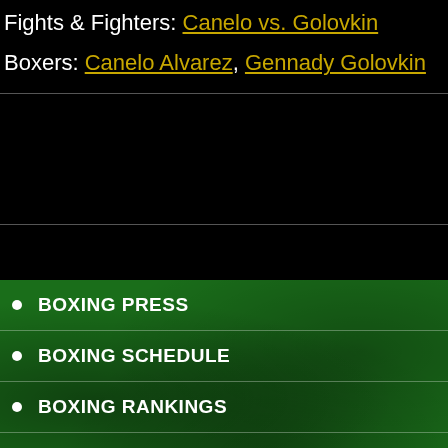Fights & Fighters: Canelo vs. Golovkin
Boxers: Canelo Alvarez, Gennady Golovkin
BOXING PRESS
BOXING SCHEDULE
BOXING RANKINGS
LIVE BOXING